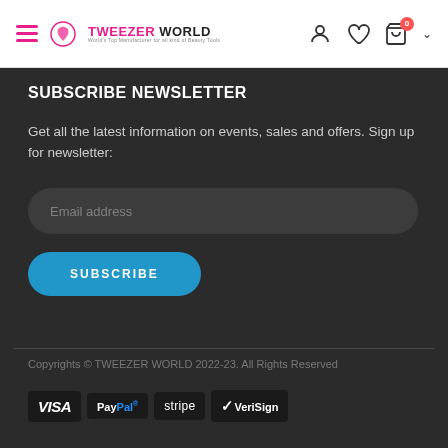Tweezer World — navigation header with hamburger menu, logo, user icon, wishlist icon, cart (0), chevron
SUBSCRIBE NEWSLETTER
Get all the latest information on events, sales and offers. Sign up for newsletter:
Email address
SUBSCRIBE
Copyrights © TWEEZER WORLD 2022-23. All Rights Reserved
[Figure (logo): Payment method logos: VISA, PayPal, stripe, VeriSign]